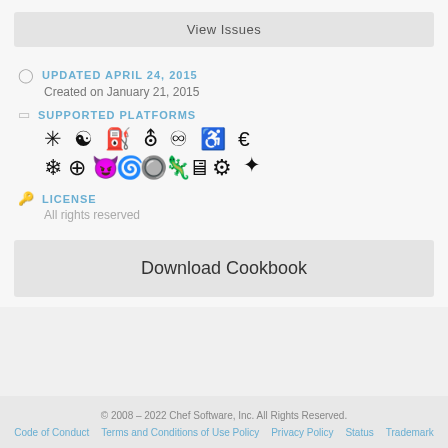View Issues
UPDATED APRIL 24, 2015
Created on January 21, 2015
SUPPORTED PLATFORMS
[Figure (illustration): Row of operating system/platform icons]
LICENSE
All rights reserved
Download Cookbook
© 2008 – 2022 Chef Software, Inc. All Rights Reserved. Code of Conduct  Terms and Conditions of Use Policy  Privacy Policy  Status  Trademark